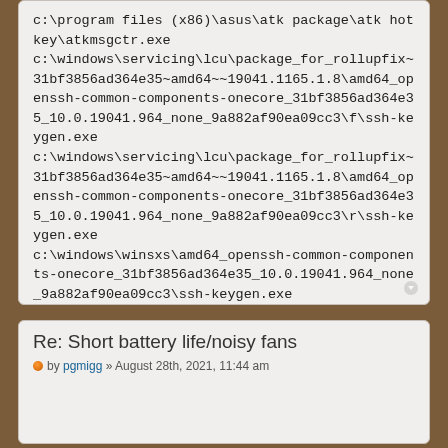c:\program files (x86)\asus\atk package\atk hotkey\atkmsgctr.exe c:\windows\servicing\lcu\package_for_rollupfix~31bf3856ad364e35~amd64~~19041.1165.1.8\amd64_openssh-common-components-onecore_31bf3856ad364e35_10.0.19041.964_none_9a882af90ea09cc3\f\ssh-keygen.exe c:\windows\servicing\lcu\package_for_rollupfix~31bf3856ad364e35~amd64~~19041.1165.1.8\amd64_openssh-common-components-onecore_31bf3856ad364e35_10.0.19041.964_none_9a882af90ea09cc3\r\ssh-keygen.exe c:\windows\winsxs\amd64_openssh-common-components-onecore_31bf3856ad364e35_10.0.19041.964_none_9a882af90ea09cc3\ssh-keygen.exe c:\windows\winsxs\amd64_openssh-common-components-onecore_31bf3856ad364e35_10.0.19041.964_none_9a882af90ea09cc3\f\ssh-keygen.exe c:\windows\winsxs\amd64_openssh-common-components-onecore_31bf3856ad364e35_10.0.19041.964_none_9a882af90ea09cc3\r\ssh-keygen.exe scanner sequence 3.BD.11.SMNAGZ ----- EOF -----
Re: Short battery life/noisy fans
by pgmigg » August 28th, 2021, 11:44 am